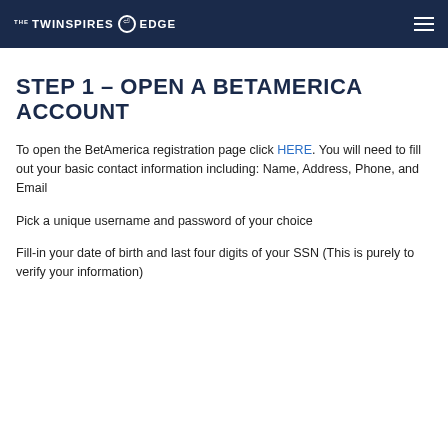THE TWINSPIRES EDGE
STEP 1 - OPEN A BETAMERICA ACCOUNT
To open the BetAmerica registration page click HERE. You will need to fill out your basic contact information including: Name, Address, Phone, and Email
Pick a unique username and password of your choice
Fill-in your date of birth and last four digits of your SSN (This is purely to verify your information)